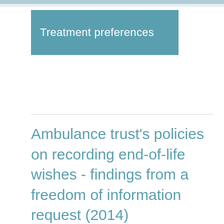Treatment preferences
Ambulance trust's policies on recording end-of-life wishes - findings from a freedom of information request (2014)